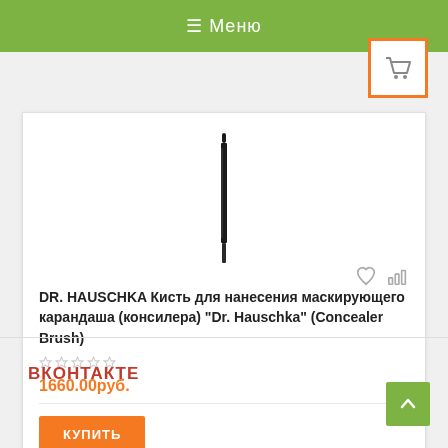≡ Меню
[Figure (screenshot): Shopping cart icon in orange-bordered white square button]
[Figure (photo): Product image: a thin black concealer brush pencil standing vertically]
DR. HAUSCHKA Кисть для нанесения маскирующего карандаша (консилера) "Dr. Hauschka" (Concealer Brush)
1660.00руб.
КУПИТЬ
ВКОНТАКТЕ
[Figure (illustration): Scroll-to-top button with upward arrow on green background]